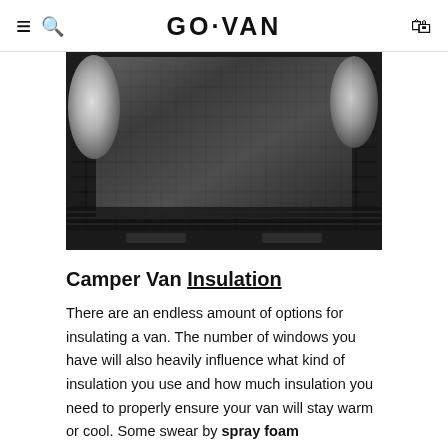GO·VAN
[Figure (photo): Interior of a camper van floor showing a grid-patterned rubber mat with reflective/metallic insulation material (foil-faced) fitted between the ribs, with silver insulation visible on the left and right sides, and a dark plastic step bumper at the bottom edge.]
Camper Van Insulation
There are an endless amount of options for insulating a van. The number of windows you have will also heavily influence what kind of insulation you use and how much insulation you need to properly ensure your van will stay warm or cool. Some swear by spray foam...